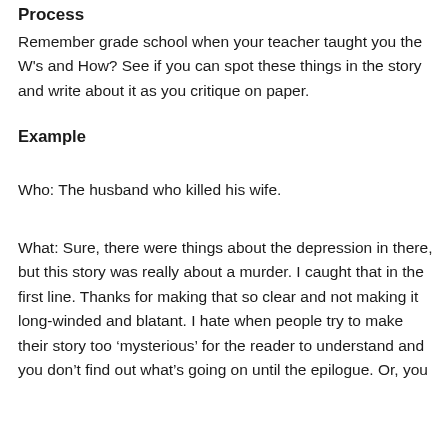Process
Remember grade school when your teacher taught you the W's and How? See if you can spot these things in the story and write about it as you critique on paper.
Example
Who: The husband who killed his wife.
What: Sure, there were things about the depression in there, but this story was really about a murder. I caught that in the first line. Thanks for making that so clear and not making it long-winded and blatant. I hate when people try to make their story too ‘mysterious’ for the reader to understand and you don’t find out what’s going on until the epilogue. Or, you